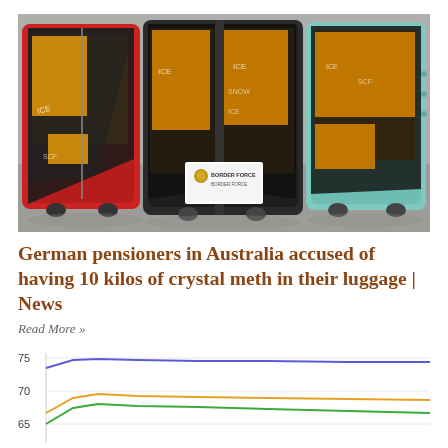[Figure (photo): Three open suitcases (red, dark grey, and teal) laid flat on a grey floor, each containing packages wrapped in brown tape and covered with black plastic sheeting. A white card with a border force logo is placed in front of the middle suitcase.]
German pensioners in Australia accused of having 10 kilos of crystal meth in their luggage | News
Read More »
[Figure (continuous-plot): Partial line chart visible at bottom of page showing multiple colored lines (blue, orange/yellow, green) with y-axis values at 65, 70, 75. Lines appear to show trends over time.]